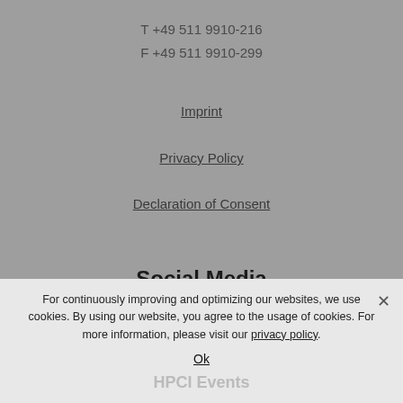T +49 511 9910-216
F +49 511 9910-299
Imprint
Privacy Policy
Declaration of Consent
Social Media
Get in touch with us.
[Figure (other): Social media icons (Facebook, YouTube/Google+, LinkedIn)]
For continuously improving and optimizing our websites, we use cookies. By using our website, you agree to the usage of cookies. For more information, please visit our privacy policy.
Ok
HPCI Events